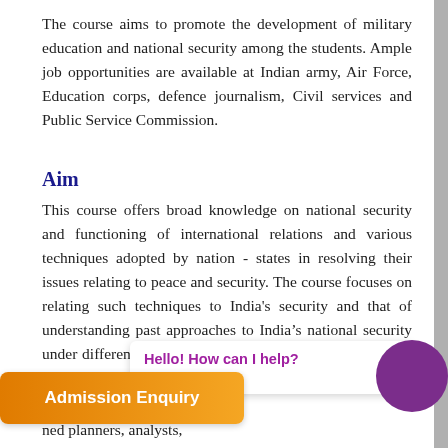The course aims to promote the development of military education and national security among the students. Ample job opportunities are available at Indian army, Air Force, Education corps, defence journalism, Civil services and Public Service Commission.
Aim
This course offers broad knowledge on national security and functioning of international relations and various techniques adopted by nation - states in resolving their issues relating to peace and security. The course focuses on relating such techniques to India's security and that of understanding past approaches to India's national security under different regimes. The course inculcates and imparts knowledge on defence/ strategic affairs thereby inculcating intellectual aptitude required for
ned planners, analysts,